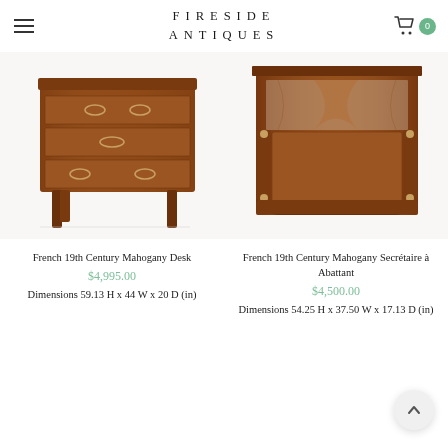FIRESIDE ANTIQUES
[Figure (photo): French 19th Century Mahogany Desk - antique chest of drawers with three drawers and tapered legs]
French 19th Century Mahogany Desk
$4,995.00
Dimensions 59.13 H x 44 W x 20 D (in)
[Figure (photo): French 19th Century Mahogany Secrétaire à Abattant - tall secretary cabinet with open shelf and column details]
French 19th Century Mahogany Secrétaire à Abattant
$4,500.00
Dimensions 54.25 H x 37.50 W x 17.13 D (in)